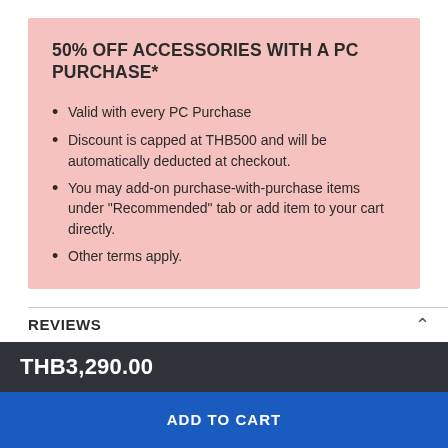50% OFF ACCESSORIES WITH A PC PURCHASE*
Valid with every PC Purchase
Discount is capped at THB500 and will be automatically deducted at checkout.
You may add-on purchase-with-purchase items under "Recommended" tab or add item to your cart directly.
Other terms apply.
REVIEWS
THB3,290.00
ADD TO CART